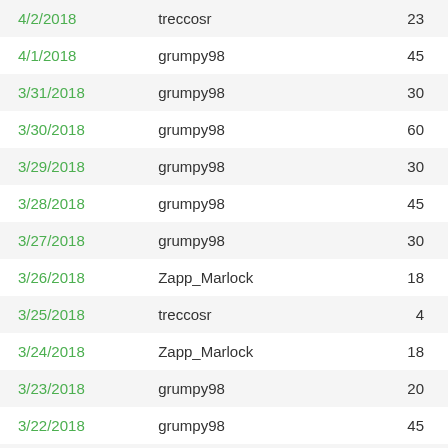| Date | User | Count |
| --- | --- | --- |
| 4/2/2018 | treccosr | 23 |
| 4/1/2018 | grumpy98 | 45 |
| 3/31/2018 | grumpy98 | 30 |
| 3/30/2018 | grumpy98 | 60 |
| 3/29/2018 | grumpy98 | 30 |
| 3/28/2018 | grumpy98 | 45 |
| 3/27/2018 | grumpy98 | 30 |
| 3/26/2018 | Zapp_Marlock | 18 |
| 3/25/2018 | treccosr | 4 |
| 3/24/2018 | Zapp_Marlock | 18 |
| 3/23/2018 | grumpy98 | 20 |
| 3/22/2018 | grumpy98 | 45 |
| 3/21/2018 | grumpy98 | 20 |